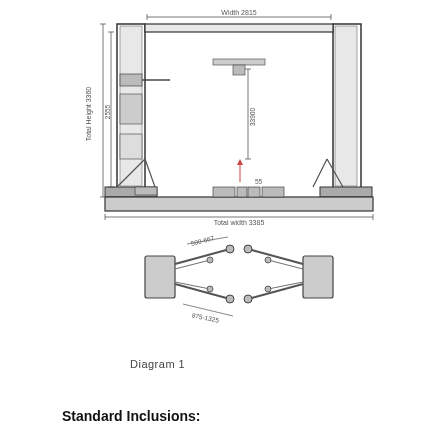[Figure (engineering-diagram): Technical/engineering drawing of a two-post vehicle lift. Top diagram shows front elevation with dimensions: Width 2815, Total height 3360, 2555, 33900 lift height, 55, and Total width 3385. Bottom diagram shows top-down view of two arm assemblies with dimensions 500-667 and 875-1325.]
Diagram 1
Standard Inclusions: